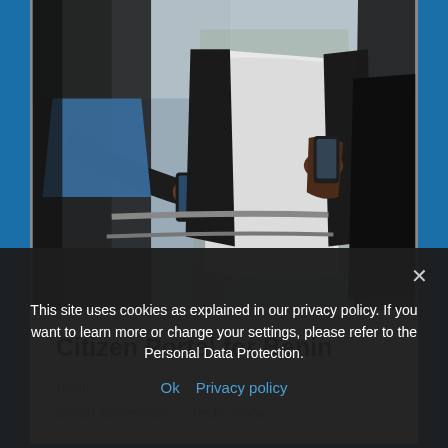[Figure (photo): Two people standing outdoors holding smartphones, one wearing a black leather jacket and blue shirt, another in a white sweater and dark jacket, urban setting]
Citizen Portal for Benin
Benin
Smart Governance, Technology
This site uses cookies as explained in our privacy policy. If you want to learn more or change your settings, please refer to the Personal Data Protection.
Ok  Privacy policy